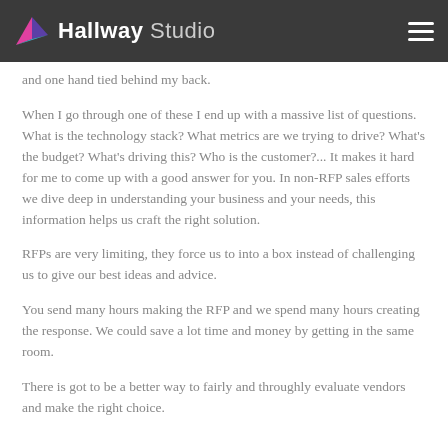Hallway Studio
and one hand tied behind my back.
When I go through one of these I end up with a massive list of questions. What is the technology stack? What metrics are we trying to drive? What's the budget? What's driving this? Who is the customer?... It makes it hard for me to come up with a good answer for you. In non-RFP sales efforts we dive deep in understanding your business and your needs, this information helps us craft the right solution.
RFPs are very limiting, they force us to into a box instead of challenging us to give our best ideas and advice.
You send many hours making the RFP and we spend many hours creating the response. We could save a lot time and money by getting in the same room.
There is got to be a better way to fairly and throughly evaluate vendors and make the right choice.